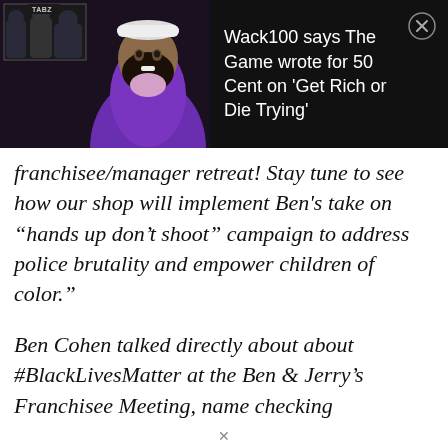[Figure (screenshot): Notification banner showing a video thumbnail of a man in a purple hoodie with a large beard and white cap, with a small overlay image of other people labeled 'TABZ'. The notification text reads: Wack100 says The Game wrote for 50 Cent on 'Get Rich or Die Trying']
franchisee/manager retreat! Stay tune to see how our shop will implement Ben's take on “hands up don’t shoot” campaign to address police brutality and empower children of color.”
Ben Cohen talked directly about about #BlackLivesMatter at the Ben & Jerry’s Franchisee Meeting, name checking